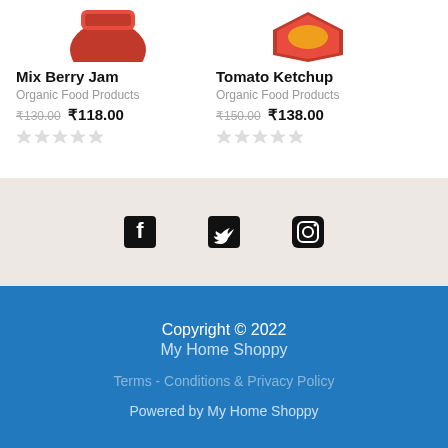Mix Berry Jam
Organic Food Products
₹130.00 ₹118.00
Tomato Ketchup
Organic Food Products
₹150.00 ₹138.00
[Figure (other): Social media icons: Facebook, Twitter, Instagram]
Copyright © 2022 My Home Shoppy Terms - Conditions & Privacy Policy Powered by My Home Shoppy